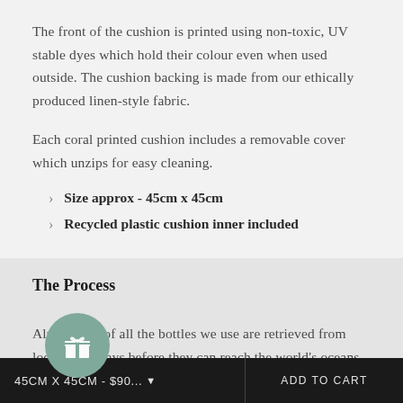The front of the cushion is printed using non-toxic, UV stable dyes which hold their colour even when used outside. The cushion backing is made from our ethically produced linen-style fabric.
Each coral printed cushion includes a removable cover which unzips for easy cleaning.
Size approx - 45cm x 45cm
Recycled plastic cushion inner included
The Process
Almost half of all the bottles we use are retrieved from local waterways before they can reach the world's oceans. We use a close water system that's